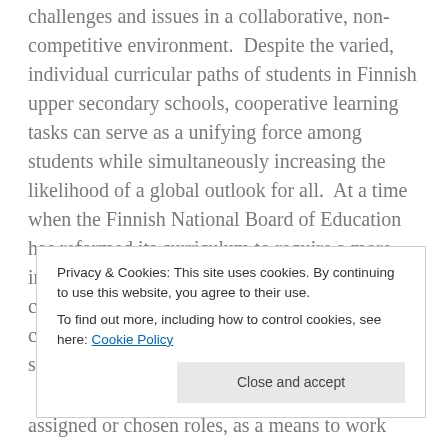challenges and issues in a collaborative, non-competitive environment.  Despite the varied, individual curricular paths of students in Finnish upper secondary schools, cooperative learning tasks can serve as a unifying force among students while simultaneously increasing the likelihood of a global outlook for all.  At a time when the Finnish National Board of Education has reformed its curriculum to require a more intercultural and interdisciplinary focus, cooperative learning strategies offer teachers the chance to enhance global-mindedness in all students.
Privacy & Cookies: This site uses cookies. By continuing to use this website, you agree to their use.
To find out more, including how to control cookies, see here: Cookie Policy
assigned or chosen roles, as a means to work